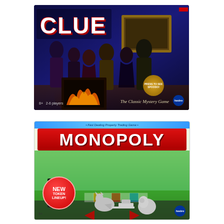[Figure (photo): Clue board game box - The Classic Mystery Game by Hasbro. Dark blue background with illustrated characters around a fireplace. Title 'CLUE' in large white letters. Age 8+, 2-6 players.]
[Figure (photo): Monopoly board game box by Hasbro. Light background with red title bar reading 'MONOPOLY'. Features Mr. Monopoly character and silver tokens. 'NEW TOKEN LINEUP!' badge visible. Age 8+.]